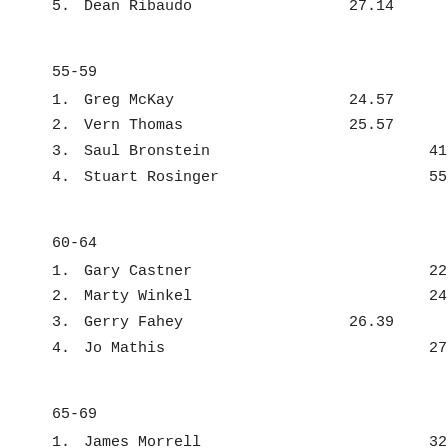5.  Dean Ribaudo   27.14
55-59
1.  Greg McKay   24.57
2.  Vern Thomas   25.57
3.  Saul Bronstein   41.13
4.  Stuart Rosinger   55.21
60-64
1.  Gary Castner   22.06
2.  Marty Winkel   24.59
3.  Gerry Fahey   26.39
4.  Jo Mathis   27.15
65-69
1.  James Morrell   32.09